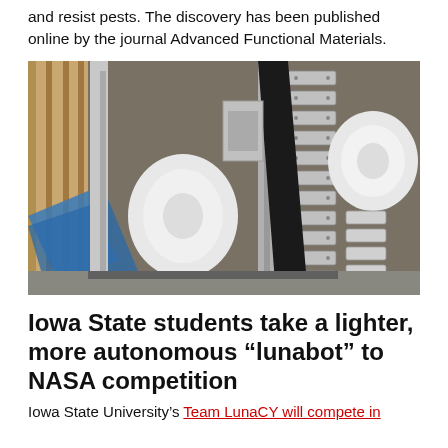and resist pests. The discovery has been published online by the journal Advanced Functional Materials.
[Figure (photo): Close-up photograph of a lunabot rover showing metallic track treads with white wheels and structural components, set in an indoor testing environment.]
Iowa State students take a lighter, more autonomous “lunabot” to NASA competition
Iowa State University’s Team LunaCY will compete in